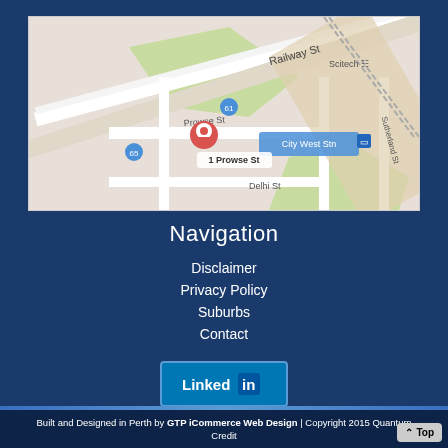[Figure (map): Google Maps screenshot showing 1 Prowse St, West Perth with a red location pin marker. Streets visible include Railway St, Prowse St, Delhi St, Sutherland St. City West Stn and Scitech landmarks are labeled.]
Navigation
Disclaimer
Privacy Policy
Suburbs
Contact
[Figure (logo): LinkedIn logo badge - white text 'Linked' followed by 'in' in white on blue square icon, on blue background with border]
Built and Designed in Perth by GTP iCommerce Web Design | Copyright 2015 Quantum Credit